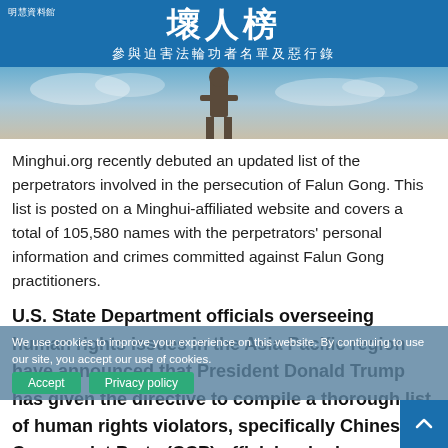明慧資料館 | 壞人榜 | 參與迫害法輪功者名單及惡行錄
[Figure (photo): Hero image showing a statue figure silhouetted against a blue sky with clouds]
Minghui.org recently debuted an updated list of the perpetrators involved in the persecution of Falun Gong. This list is posted on a Minghui-affiliated website and covers a total of 105,580 names with the perpetrators' personal information and crimes committed against Falun Gong practitioners.
U.S. State Department officials overseeing human rights issues in the Asia Pacific region have announced that President Donald Trump has given the directive to compile a thorough list of human rights violators, specifically Chinese Communist Party (CCP) officials who have participated in the removal of organs from Falun Gong practitioners.
We use cookies to improve your experience on this website. By continuing to use our site, you accept our use of cookies. Accept | Privacy policy